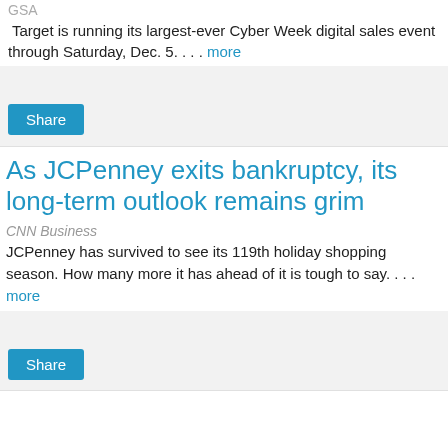GSA
Target is running its largest-ever Cyber Week digital sales event through Saturday, Dec. 5. . . . more
[Figure (other): Share button area with light gray background]
As JCPenney exits bankruptcy, its long-term outlook remains grim
CNN Business
JCPenney has survived to see its 119th holiday shopping season. How many more it has ahead of it is tough to say. . . . more
[Figure (other): Share button area with light gray background]